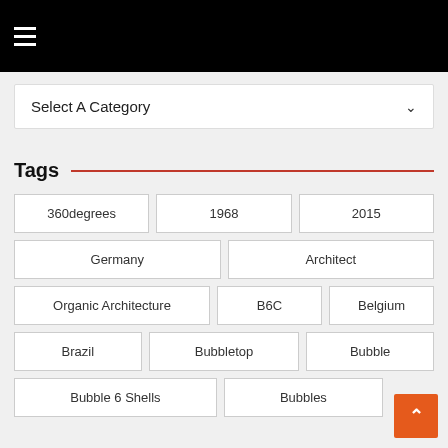☰ (hamburger menu)
Select A Category
Tags
360degrees
1968
2015
Germany
Architect
Organic Architecture
B6C
Belgium
Brazil
Bubbletop
Bubble
Bubble 6 Shells
Bubbles